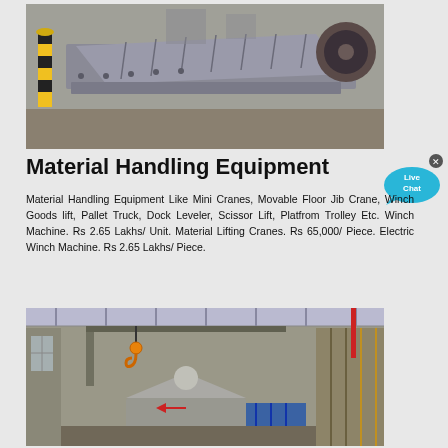[Figure (photo): Industrial material handling conveyor equipment, large grey metal conveyor/chute machinery on a factory floor with yellow-black striped safety bollard visible in background]
Material Handling Equipment
Material Handling Equipment Like Mini Cranes, Movable Floor Jib Crane, Winch Goods lift, Pallet Truck, Dock Leveler, Scissor Lift, Platfrom Trolley Etc. Winch Machine. Rs 2.65 Lakhs/ Unit. Material Lifting Cranes. Rs 65,000/ Piece. Electric Winch Machine. Rs 2.65 Lakhs/ Piece.
[Figure (photo): Interior of a large industrial factory or warehouse with overhead crane, hook visible at top, heavy machinery including grey and blue equipment on the factory floor, structural steel framework visible]